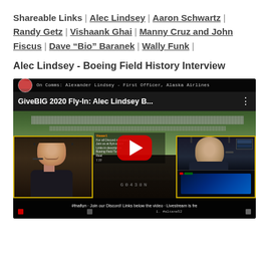Shareable Links | Alec Lindsey | Aaron Schwartz | Randy Getz | Vishaank Ghai | Manny Cruz and John Fiscus | Dave “Bio” Baranek | Wally Funk |
Alec Lindsey - Boeing Field History Interview
[Figure (screenshot): YouTube video thumbnail screenshot showing GiveBIG 2020 Fly-In: Alec Lindsey Boeing Field interview. Aerial view of Boeing Field with crowd and runway visible. Red YouTube play button in center. Two webcam boxes: left showing a man with headset smiling, right showing another man with headset. Chat overlay on left. Bottom ticker reads: ‘#fnaflyn · Join our Discord! Links below the video · Livestream is fre’. Top bar shows: On Comms: Alexander Lindsey - First Officer, Alaska Airlines.]